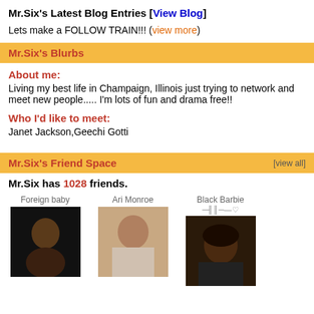Mr.Six's Latest Blog Entries [View Blog]
Lets make a FOLLOW TRAIN!!! (view more)
Mr.Six's Blurbs
About me:
Living my best life in Champaign, Illinois just trying to network and meet new people..... I'm lots of fun and drama free!!
Who I'd like to meet:
Janet Jackson,Geechi Gotti
Mr.Six's Friend Space [view all]
Mr.Six has 1028 friends.
Foreign baby
Ari Monroe
Black Barbie ─╢║─—♡